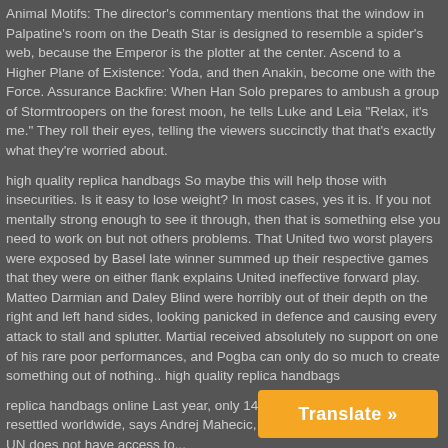Animal Motifs: The director's commentary mentions that the window in Palpatine's room on the Death Star is designed to resemble a spider's web, because the Emperor is the plotter at the center. Ascend to a Higher Plane of Existence: Yoda, and then Anakin, become one with the Force. Assurance Backfire: When Han Solo prepares to ambush a group of Stormtroopers on the forest moon, he tells Luke and Leia "Relax, it's me." They roll their eyes, telling the viewers succinctly that that's exactly what they're worried about.
high quality replica handbags So maybe this will help those with insecurities. Is it easy to lose weight? In most cases, yes it is. If you not mentally strong enough to see it through, then that is something else you need to work on but not others problems. That United two worst players were exposed by Basel late winner summed up their respective games that they were on either flank explains United ineffective forward play. Matteo Darmian and Daley Blind were horribly out of their depth on the right and left hand sides, looking panicked in defence and causing every attack to stall and splutter. Martial received absolutely no support on one of his rare poor performances, and Pogba can only do so much to create something out of nothing.. high quality replica handbags
replica handbags online Last year, only 14,700 Iraqi refugees were resettled worldwide, says Andrej Mahecic, a spo... refugee agency. The UN does not have access to...
[Figure (other): Orange 'Translate »' button in the bottom-right corner of the page]